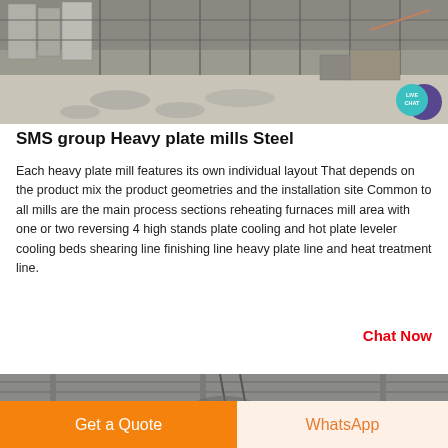[Figure (photo): Industrial heavy plate mill factory interior with steel structures, machinery, and equipment visible. Overhead cranes and industrial components in a large workshop floor setting.]
SMS group Heavy plate mills Steel
Each heavy plate mill features its own individual layout That depends on the product mix the product geometries and the installation site Common to all mills are the main process sections reheating furnaces mill area with one or two reversing 4 high stands plate cooling and hot plate leveler cooling beds shearing line finishing line heavy plate line and heat treatment line.
Chat Now
[Figure (photo): Bottom portion of an industrial facility interior showing overhead structures, cables or pipes, and large industrial equipment visible at the bottom of the page.]
Get a Quote
WhatsApp